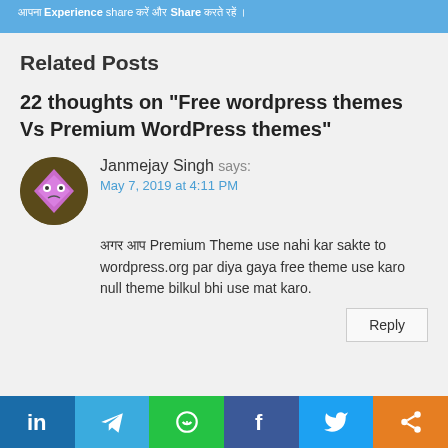आपना Experience share करें और Share करते रहें।
Related Posts
22 thoughts on “Free wordpress themes Vs Premium WordPress themes”
Janmejay Singh says:
May 7, 2019 at 4:11 PM
अगर आप Premium Theme use nahi kar sakte to wordpress.org par diya gaya free theme use karo null theme bilkul bhi use mat karo.
Reply